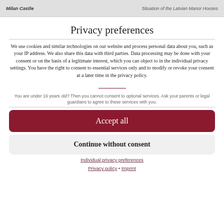Milan Castle   Situation of the Latvian Manor Houses
Privacy preferences
We use cookies and similar technologies on our website and process personal data about you, such as your IP address. We also share this data with third parties. Data processing may be done with your consent or on the basis of a legitimate interest, which you can object to in the individual privacy settings. You have the right to consent to essential services only and to modify or revoke your consent at a later time in the privacy policy.
You are under 16 years old? Then you cannot consent to optional services. Ask your parents or legal guardians to agree to these services with you.
Accept all
Continue without consent
Individual privacy preferences
Privacy policy • Imprint